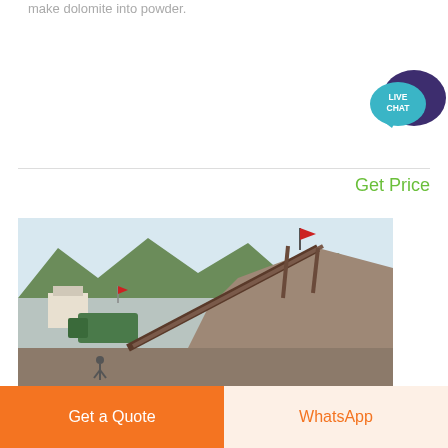make dolomite into powder.
[Figure (illustration): Live Chat speech bubble icon with teal and dark purple colors]
Get Price
[Figure (photo): Mining/quarry site with large pile of crushed stone/dolomite, conveyor belt, machinery, mountains in background, Chinese flags visible]
Get a Quote
WhatsApp